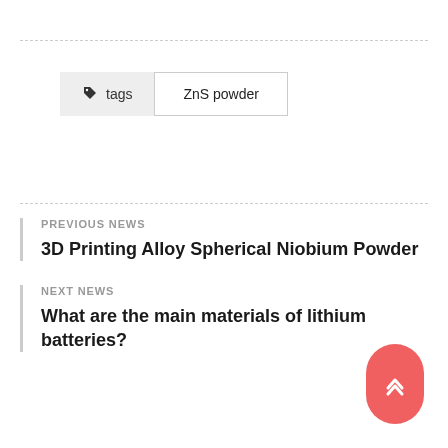tags   ZnS powder
PREVIOUS NEWS
3D Printing Alloy Spherical Niobium Powder
NEXT NEWS
What are the main materials of lithium batteries?